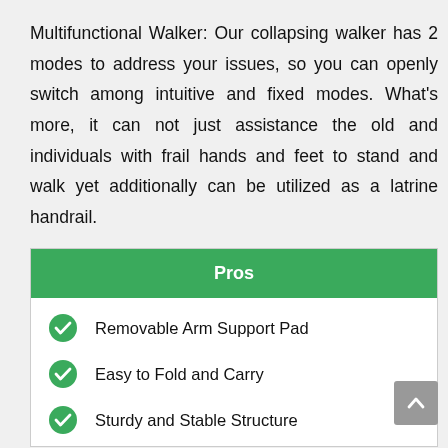Multifunctional Walker: Our collapsing walker has 2 modes to address your issues, so you can openly switch among intuitive and fixed modes. What's more, it can not just assistance the old and individuals with frail hands and feet to stand and walk yet additionally can be utilized as a latrine handrail.
Pros
Removable Arm Support Pad
Easy to Fold and Carry
Sturdy and Stable Structure